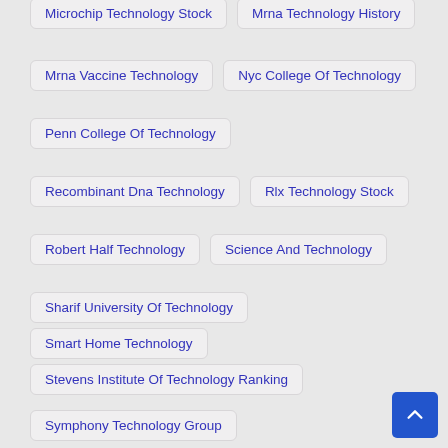Microchip Technology Stock
Mrna Technology History
Mrna Vaccine Technology
Nyc College Of Technology
Penn College Of Technology
Recombinant Dna Technology
Rlx Technology Stock
Robert Half Technology
Science And Technology
Sharif University Of Technology
Smart Home Technology
Stevens Institute Of Technology Ranking
Symphony Technology Group
Technology In The Classroom
Technology Readiness Level
Technology Stores Near Me